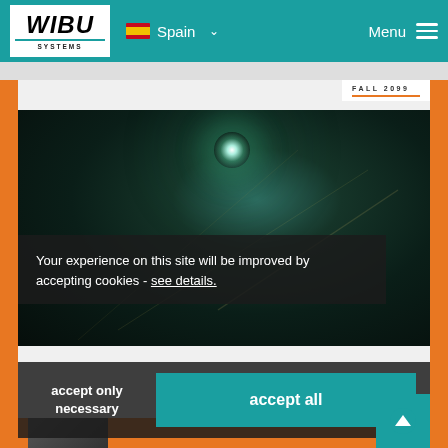[Figure (logo): WIBU SYSTEMS logo — white box with bold italic WIBU text and SYSTEMS below]
Spain
Menu
[Figure (screenshot): Dark atmospheric image with teal/green light flare at center, showing a newsletter or magazine cover with FALL 2099 label in top right]
Your experience on this site will be improved by accepting cookies -  see details.
accept only necessary
accept all